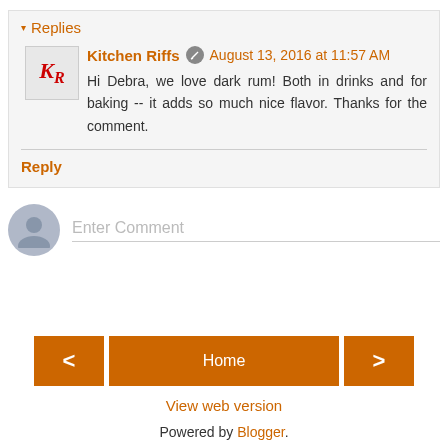▾ Replies
Kitchen Riffs  August 13, 2016 at 11:57 AM
Hi Debra, we love dark rum! Both in drinks and for baking -- it adds so much nice flavor. Thanks for the comment.
Reply
Enter Comment
< Home >
View web version
Powered by Blogger.